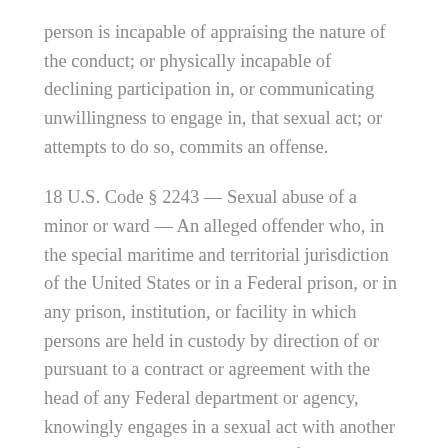person is incapable of appraising the nature of the conduct; or physically incapable of declining participation in, or communicating unwillingness to engage in, that sexual act; or attempts to do so, commits an offense.
18 U.S. Code § 2243 — Sexual abuse of a minor or ward — An alleged offender who, in the special maritime and territorial jurisdiction of the United States or in a Federal prison, or in any prison, institution, or facility in which persons are held in custody by direction of or pursuant to a contract or agreement with the head of any Federal department or agency, knowingly engages in a sexual act with another person who has attained the age of 12 years but has not attained the age of 16 years; and is at least four years younger than the person so engaging; or attempts to do so, commits an offense. A person also commits an offense if they, in the special maritime and territorial jurisdiction of the United States or in a Federal prison, or in any prison, institution, or facility in which persons are held in